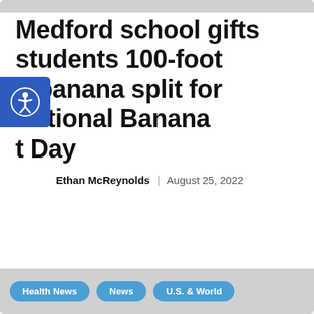Medford school gifts students 100-foot banana split for National Banana Split Day
Ethan McReynolds | August 25, 2022
Health News | News | U.S. & World